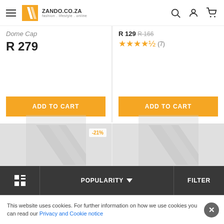[Figure (screenshot): Zando.co.za website header with hamburger menu, logo, search icon, user icon, and cart icon]
Dome Cap
R 279
R 129  R 166
★★★★½ (7)
ADD TO CART
ADD TO CART
-21%
[Figure (illustration): Loading placeholder with Zando logo watermark, left product]
[Figure (illustration): Loading placeholder with Zando logo watermark, right product]
POPULARITY  ∨
FILTER
This website uses cookies. For further information on how we use cookies you can read our  Privacy and Cookie notice